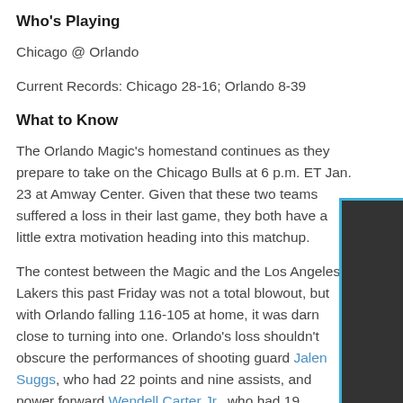Who's Playing
Chicago @ Orlando
Current Records: Chicago 28-16; Orlando 8-39
What to Know
The Orlando Magic's homestand continues as they prepare to take on the Chicago Bulls at 6 p.m. ET Jan. 23 at Amway Center. Given that these two teams suffered a loss in their last game, they both have a little extra motivation heading into this matchup.
The contest between the Magic and the Los Angeles Lakers this past Friday was not a total blowout, but with Orlando falling 116-105 at home, it was darn close to turning into one. Orlando's loss shouldn't obscure the performances of shooting guard Jalen Suggs, who had 22 points and nine assists, and power forward Wendell Carter Jr., who had 19